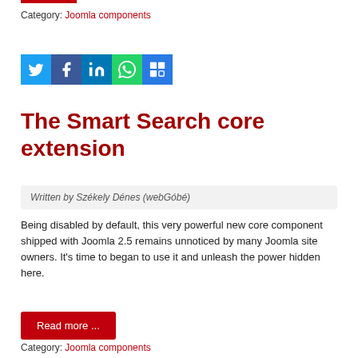Category: Joomla components
[Figure (illustration): Social sharing icons: Twitter (blue), Facebook (dark blue), LinkedIn (blue), WhatsApp (green), ShareThis (blue/white)]
The Smart Search core extension
Written by Székely Dénes (webGóbé)
Being disabled by default, this very powerful new core component shipped with Joomla 2.5 remains unnoticed by many Joomla site owners. It's time to began to use it and unleash the power hidden here.
Read more ...
Category: Joomla components